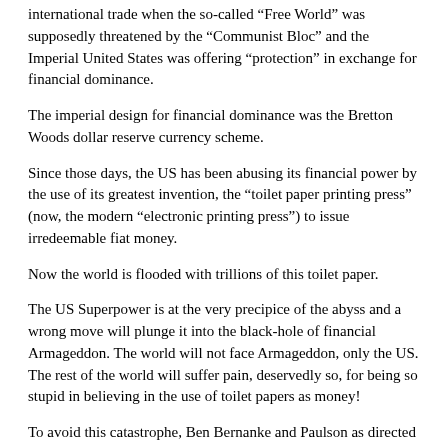international trade when the so-called “Free World” was supposedly threatened by the “Communist Bloc” and the Imperial United States was offering “protection” in exchange for financial dominance.
The imperial design for financial dominance was the Bretton Woods dollar reserve currency scheme.
Since those days, the US has been abusing its financial power by the use of its greatest invention, the “toilet paper printing press” (now, the modern “electronic printing press”) to issue irredeemable fiat money.
Now the world is flooded with trillions of this toilet paper.
The US Superpower is at the very precipice of the abyss and a wrong move will plunge it into the black-hole of financial Armageddon. The world will not face Armageddon, only the US. The rest of the world will suffer pain, deservedly so, for being so stupid in believing in the use of toilet papers as money!
To avoid this catastrophe, Ben Bernanke and Paulson as directed by their Shadow Money-Lender masters have devised an insidious scheme. The ultimate con-game!